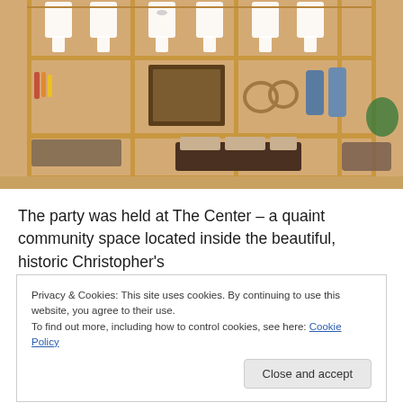[Figure (photo): Photo of a wooden cubby shelf unit with white baby onesies hanging on a rod at the top, and various craft supplies, irons, baskets of folded items on the shelves below.]
The party was held at The Center – a quaint community space located inside the beautiful, historic Christopher's
Privacy & Cookies: This site uses cookies. By continuing to use this website, you agree to their use.
To find out more, including how to control cookies, see here: Cookie Policy